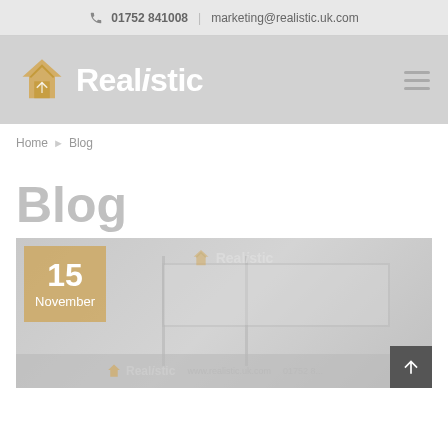📞 01752 841008  |  marketing@realistic.uk.com
[Figure (logo): Realistic company logo with house icon and text 'Realistic']
Home > Blog
Blog
[Figure (photo): Exterior photo of Realistic office building with signage showing '15 November' date badge overlay and Realistic logo on the building sign]